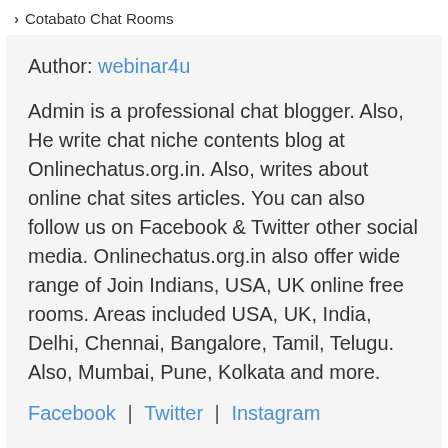> Cotabato Chat Rooms
Author: webinar4u
Admin is a professional chat blogger. Also, He write chat niche contents blog at Onlinechatus.org.in. Also, writes about online chat sites articles. You can also follow us on Facebook & Twitter other social media. Onlinechatus.org.in also offer wide range of Join Indians, USA, UK online free rooms. Areas included USA, UK, India, Delhi, Chennai, Bangalore, Tamil, Telugu. Also, Mumbai, Pune, Kolkata and more.
Facebook | Twitter | Instagram